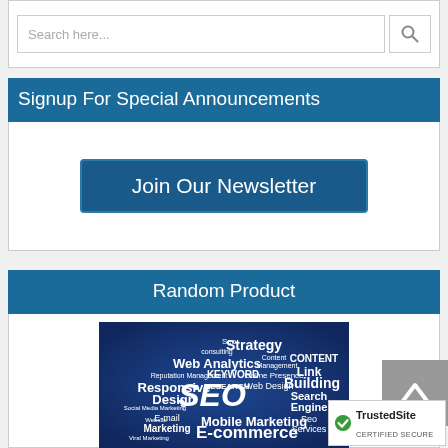[Figure (screenshot): Search input field with placeholder text 'Search here...' and a search icon button]
Signup For Special Announcements
Join Our Newsletter
Random Product
[Figure (infographic): SEO word cloud on blue background with terms: SEO, Strategy, Web Analytics, Content Management, CONTENT, Link Building, Responsive Design, KEYWORD, Web Design, Search Engine, Mobile Marketing, E-commerce, Local SEO, PERSONAS, E-mail Marketing, Mobile Seo, and more]
[Figure (other): TrustedSite Certified Secure badge with green checkmark]